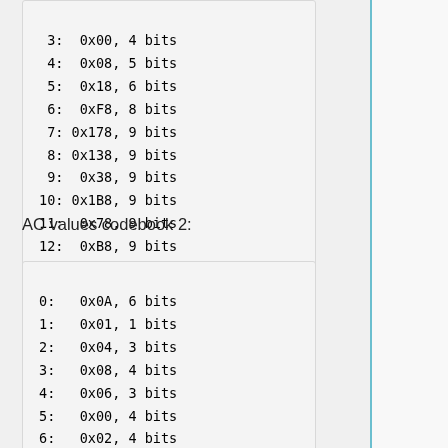3:  0x00, 4 bits
4:  0x08, 5 bits
5:  0x18, 6 bits
6:  0xF8, 8 bits
7: 0x178, 9 bits
8: 0x138, 9 bits
9:  0x38, 9 bits
10: 0x1B8, 9 bits
11:  0x78, 9 bits
12:  0xB8, 9 bits
AC values codebook 2:
0:   0x0A, 6 bits
1:   0x01, 1 bits
2:   0x04, 3 bits
3:   0x08, 4 bits
4:   0x06, 3 bits
5:   0x00, 4 bits
6:   0x02, 4 bits
7:   0x1A, 5 bits
8:   0x2A, 7 bits
9:  0x16A, 9 bits